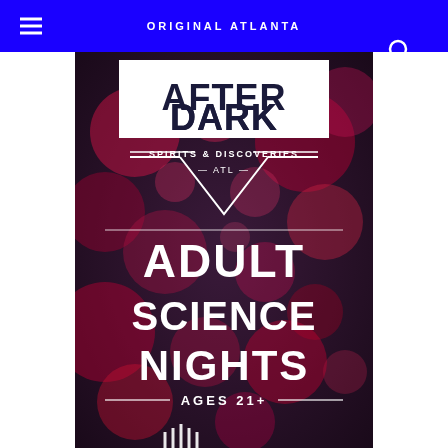ORIGINAL ATLANTA
[Figure (illustration): After Dark Spirits & Discoveries ATL event poster with bokeh background showing 'ADULT SCIENCE NIGHTS' and 'AGES 21+' text on a dark purple/red bokeh light background. Features the After Dark logo at top with a white rectangle and diamond chevron shape below reading 'SPIRITS & DISCOVERIES - ATL -', a horizontal white line divider, large white text 'ADULT SCIENCE NIGHTS', another divider with 'AGES 21+', and partial museum logo at bottom.]